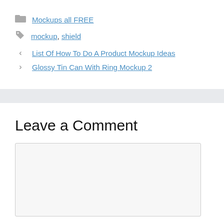Mockups all FREE
mockup, shield
List Of How To Do A Product Mockup Ideas
Glossy Tin Can With Ring Mockup 2
Leave a Comment